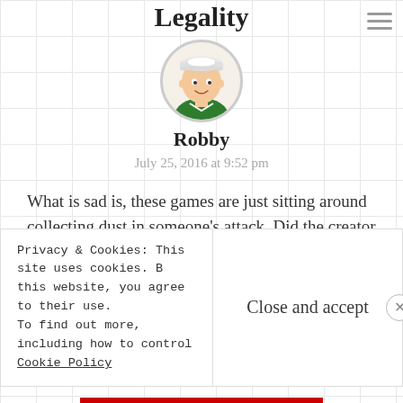Legality
[Figure (illustration): Circular avatar illustration of a cartoon person wearing a white hat and green shirt]
Robby
July 25, 2016 at 9:52 pm
What is sad is, these games are just sitting around collecting dust in someone’s attack. Did the creator of these games create them to collect dust? I understand they wanted to make some money. Well then, why not make them more available at a low cost, where maybe
Privacy & Cookies: This site uses cookies. By continuing to use this website, you agree to their use.
To find out more, including how to control cookies, see here:
Cookie Policy
Close and accept